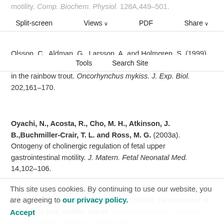motility. Comp. Biochem. Physiol. 128A,449–501.
Split-screen | Views | PDF | Share
Olsson, C., Aldman, G., Larsson, A. and Holmgren, S. (1999). Cholecystokinin affects gastric emptying and stomach motility in the rainbow trout. Oncorhynchus mykiss. J. Exp. Biol. 202,161–170.
Tools | Search Site
Oyachi, N., Acosta, R., Cho, M. H., Atkinson, J. B.,Buchmiller-Crair, T. L. and Ross, M. G. (2003a). Ontogeny of cholinergic regulation of fetal upper gastrointestinal motility. J. Matern. Fetal Neonatal Med. 14,102–106.
Oyachi, N., Lakshmanan, J., Ahanya, S. N., Bassiri, D.,Atkinson, J. B. and Ross, M. G. (2003b). Development of ovine fetal ileal motility: role of muscarinic receptor subtypes. Am. J. Obstet. Gynecol. 189,953–957.
Odenthal, J., Solnica-Krezel, L., Malicki, J., Neuhauss, S. C.,Schier, A. F., Stemple, D. L., Driever, W. and
This site uses cookies. By continuing to use our website, you are agreeing to our privacy policy. Accept